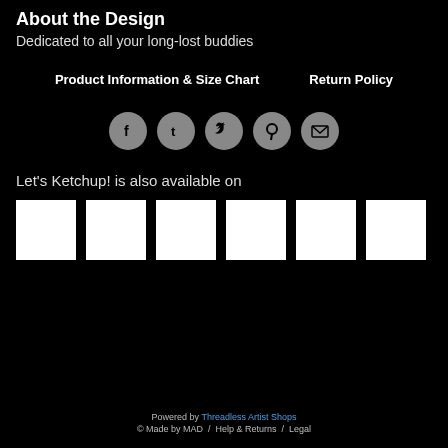About the Design
Dedicated to all your long-lost buddies
Product Information & Size Chart   Return Policy
[Figure (infographic): Five social media share icons in circles: Facebook, Tumblr, Twitter, Pinterest, Email]
Let's Ketchup! is also available on
[Figure (infographic): Six white product thumbnail squares shown in a row]
Powered by Threadless Artist Shops
© Made by MAD / Help & Returns / Legal